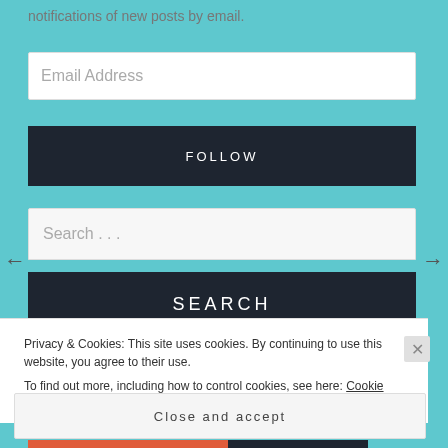notifications of new posts by email.
Email Address
FOLLOW
Search . . .
SEARCH
Privacy & Cookies: This site uses cookies. By continuing to use this website, you agree to their use.
To find out more, including how to control cookies, see here: Cookie Policy
Close and accept